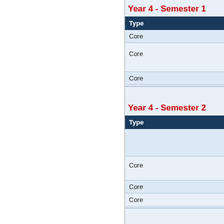Year 4 - Semester 1
| Type |
| --- |
| Core |
| Core |
| Core |
Year 4 - Semester 2
| Type |
| --- |
|  |
| Core |
| Core |
| Core |
Year 5 - Semester 1
| Type |
| --- |